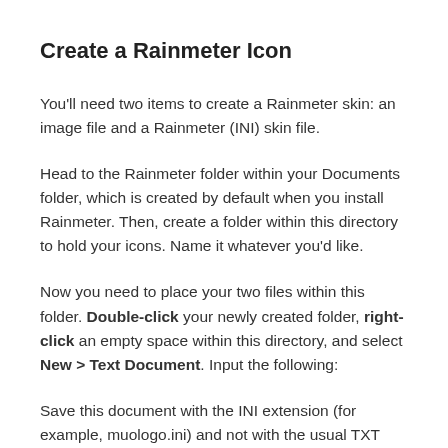Create a Rainmeter Icon
You'll need two items to create a Rainmeter skin: an image file and a Rainmeter (INI) skin file.
Head to the Rainmeter folder within your Documents folder, which is created by default when you install Rainmeter. Then, create a folder within this directory to hold your icons. Name it whatever you'd like.
Now you need to place your two files within this folder. Double-click your newly created folder, right-click an empty space within this directory, and select New > Text Document. Input the following:
Save this document with the INI extension (for example, muologo.ini) and not with the usual TXT extension. Head to File > Save As. Under Save as type, select All Files. Enter